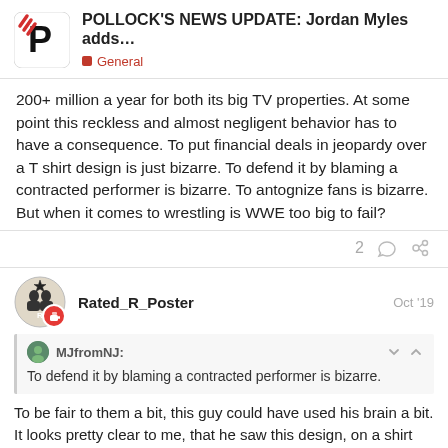POLLOCK'S NEWS UPDATE: Jordan Myles adds... | General
200+ million a year for both its big TV properties. At some point this reckless and almost negligent behavior has to have a consequence. To put financial deals in jeopardy over a T shirt design is just bizarre. To defend it by blaming a contracted performer is bizarre. To antognize fans is bizarre. But when it comes to wrestling is WWE too big to fail?
2
Rated_R_Poster — Oct '19
MJfromNJ: To defend it by blaming a contracted performer is bizarre.
To be fair to them a bit, this guy could have used his brain a bit. It looks pretty clear to me, that he saw this design, on a shirt that was not black. I'm pretty sure WWE has an option to